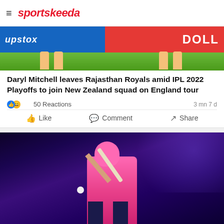sportskeeda
[Figure (photo): Cricket match photo showing players on field with advertising banners (upstox, DOLLY) in background]
Daryl Mitchell leaves Rajasthan Royals amid IPL 2022 Playoffs to join New Zealand squad on England tour
50 Reactions   3 mn 7 d
Like   Comment   Share
[Figure (photo): Cricket player in pink Rajasthan Royals jersey playing a shot with bat raised, dark blue/purple stadium background]
[Figure (photo): Advertisement banner: DISCOVER AMAZING TRAVEL SIDESTAGE.COM with Alaska glacier imagery on sides]